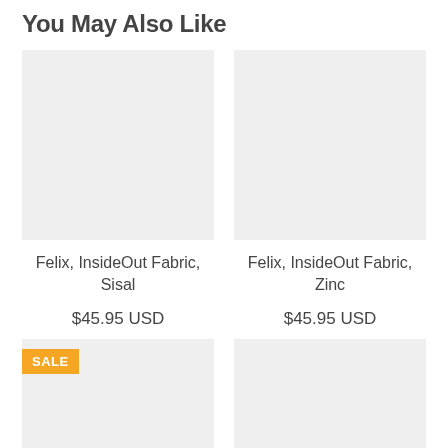You May Also Like
[Figure (photo): Product image placeholder for Felix, InsideOut Fabric, Sisal]
Felix, InsideOut Fabric, Sisal
$45.95 USD
[Figure (photo): Product image placeholder for Felix, InsideOut Fabric, Zinc]
Felix, InsideOut Fabric, Zinc
$45.95 USD
[Figure (photo): Product image placeholder with SALE badge]
[Figure (photo): Product image placeholder]